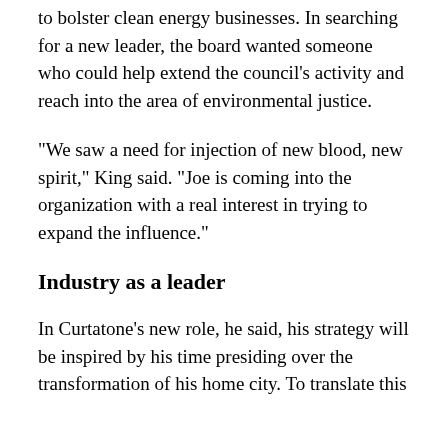to bolster clean energy businesses. In searching for a new leader, the board wanted someone who could help extend the council's activity and reach into the area of environmental justice.
“We saw a need for injection of new blood, new spirit,” King said. “Joe is coming into the organization with a real interest in trying to expand the influence.”
Industry as a leader
In Curtatone’s new role, he said, his strategy will be inspired by his time presiding over the transformation of his home city. To translate this